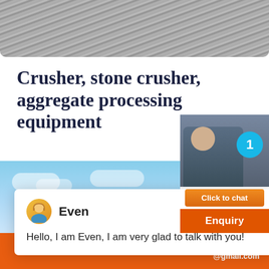[Figure (photo): Top photo showing a grey rocky/stony surface or ground material]
Crusher, stone crusher, aggregate processing equipment
Hello, I am Even, I am very glad to talk with you!
[Figure (screenshot): Chat popup widget with avatar of 'Even', close button, and message. Also shows a person on phone with blue badge showing '1', orange 'Click to chat' button, and orange 'Enquiry' section.]
[Figure (photo): Bottom partial photo with blue sky and clouds, showing top of a building or structure]
Bavarder sur Internet    cywaitml @gmail.com